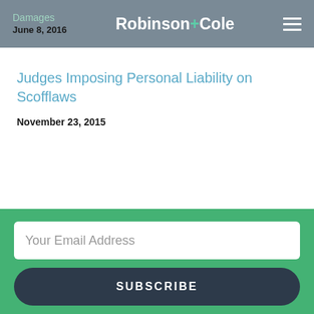Damages | June 8, 2016 | Robinson+Cole
Judges Imposing Personal Liability on Scofflaws
November 23, 2015
Your Email Address
SUBSCRIBE
Follow us on Twitter
View Our Linkedin Profile
Join Us on Facebook